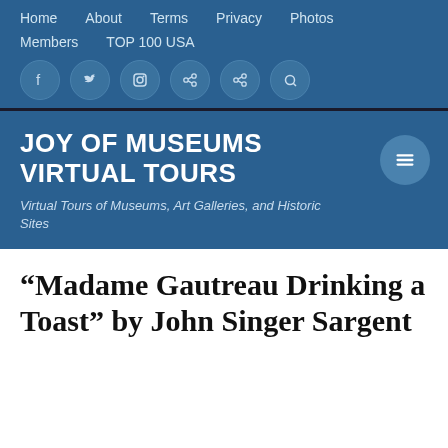Home  About  Terms  Privacy  Photos  Members  TOP 100 USA
JOY OF MUSEUMS VIRTUAL TOURS
Virtual Tours of Museums, Art Galleries, and Historic Sites
“Madame Gautreau Drinking a Toast” by John Singer Sargent